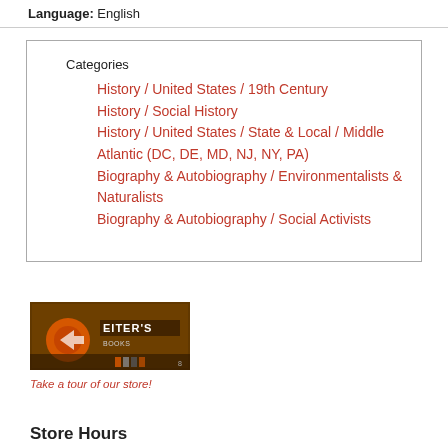Language: English
Categories
History / United States / 19th Century
History / Social History
History / United States / State & Local / Middle Atlantic (DC, DE, MD, NJ, NY, PA)
Biography & Autobiography / Environmentalists & Naturalists
Biography & Autobiography / Social Activists
[Figure (photo): Store front photo showing Eiter's Books sign with orange circular logo and storefront display]
Take a tour of our store!
Store Hours